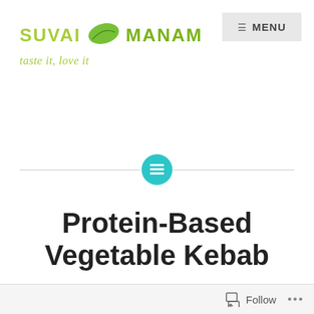[Figure (logo): Suvai Manam logo with green leaf icon and tagline 'taste it, love it']
[Figure (other): Teal circular icon with horizontal lines (menu/list icon) centered on a horizontal divider line]
Protein-Based Vegetable Kebab
Follow ...